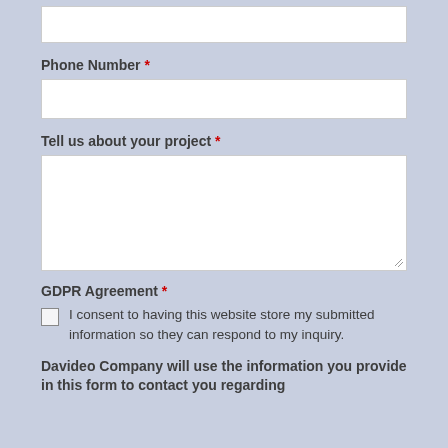[Figure (other): Empty text input field (top, partial, no visible label on this page crop)]
Phone Number *
[Figure (other): Empty text input field for Phone Number]
Tell us about your project *
[Figure (other): Large empty textarea for project description]
GDPR Agreement *
I consent to having this website store my submitted information so they can respond to my inquiry.
Davideo Company will use the information you provide in this form to contact you regarding